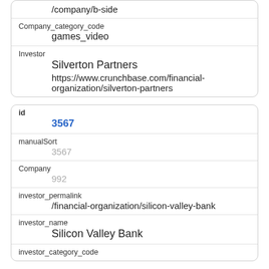/company/b-side
Company_category_code
games_video
Investor
Silverton Partners
https://www.crunchbase.com/financial-organization/silverton-partners
id
3567
manualSort
3567
Company
992
investor_permalink
/financial-organization/silicon-valley-bank
investor_name
Silicon Valley Bank
investor_category_code